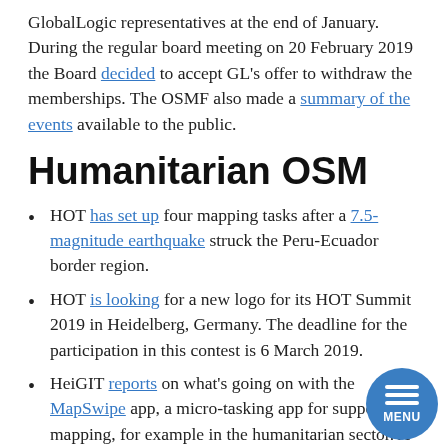GlobalLogic representatives at the end of January. During the regular board meeting on 20 February 2019 the Board decided to accept GL's offer to withdraw the memberships. The OSMF also made a summary of the events available to the public.
Humanitarian OSM
HOT has set up four mapping tasks after a 7.5-magnitude earthquake struck the Peru-Ecuador border region.
HOT is looking for a new logo for its HOT Summit 2019 in Heidelberg, Germany. The deadline for the participation in this contest is 6 March 2019.
HeiGIT reports on what's going on with the MapSwipe app, a micro-tasking app for supporting mapping, for example in the humanitarian sector. A next step is, for example,